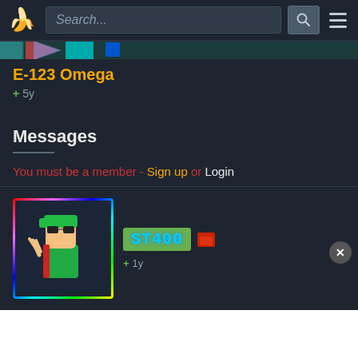[Figure (screenshot): Website navigation bar with banana logo, search input field with placeholder 'Search...', search icon button, and hamburger menu icon]
[Figure (screenshot): Game banner strip showing pixel art characters and game-related icons]
E-123 Omega
+ 5y
Messages
You must be a member - Sign up or Login
[Figure (screenshot): User avatar thumbnail showing an animated character with green hair giving a peace sign, wearing red jacket, with a colorful rainbow border]
[Figure (screenshot): Username banner 'ST400' in cyan pixel font on green background, with a folder icon and +1y badge]
+ 1y